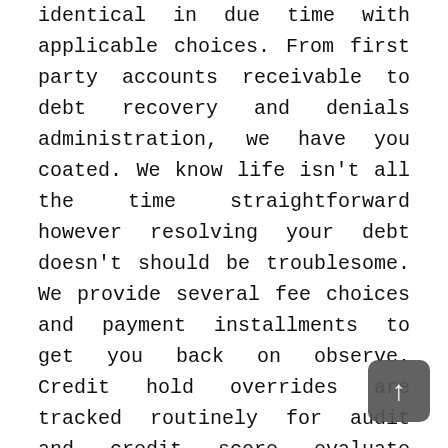identical in due time with applicable choices. From first party accounts receivable to debt recovery and denials administration, we have you coated. We know life isn't all the time straightforward however resolving your debt doesn't should be troublesome. We provide several fee choices and payment installments to get you back on observe. Credit hold overrides are tracked routinely for audit and credit score evaluate functions.
Thomas Brock is a well-rounded monetary professional, with over 20 years of experience in investments, company finance, and accounting. Simple credit verify includes evaluating customer credit restrict to the whole of all objects and open merchandise values in the order. ACCC offers debt aid choices to individuals and families which are suffering from stress associated to bad debt by offering effective ... Read More